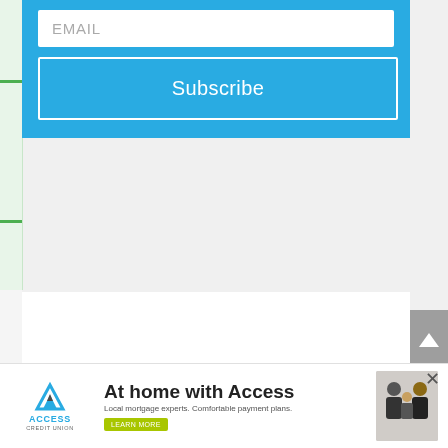EMAIL
Subscribe
[Figure (screenshot): Access Credit Union advertisement banner. Logo with mountain/chevron icon and text 'ACCESS CREDIT UNION'. Tagline: 'At home with Access'. Subtitle: 'Local mortgage experts. Comfortable payment plans.' with a green Learn More button. Family photo on the right.]